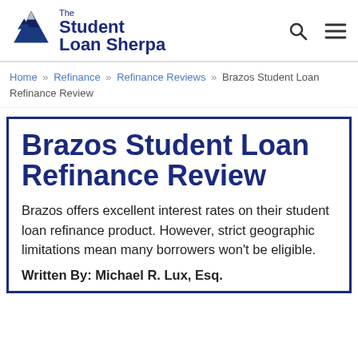The Student Loan Sherpa
Home » Refinance » Refinance Reviews » Brazos Student Loan Refinance Review
Brazos Student Loan Refinance Review
Brazos offers excellent interest rates on their student loan refinance product. However, strict geographic limitations mean many borrowers won't be eligible.
Written By: Michael R. Lux, Esq.